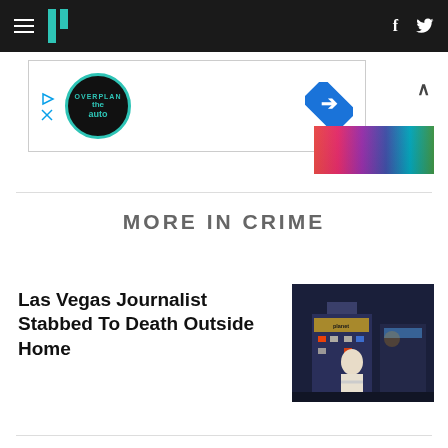HuffPost navigation bar with hamburger menu, logo, Facebook and Twitter icons
[Figure (screenshot): Advertisement banner with the Auto logo (Overplan the Auto), play and close controls on left, blue navigation arrow icon on right]
[Figure (photo): Colorful image strip visible in top-right area next to ad]
MORE IN CRIME
Las Vegas Journalist Stabbed To Death Outside Home
[Figure (photo): Night photo of a man standing with arms crossed in front of the Planet Hollywood casino on the Las Vegas Strip]